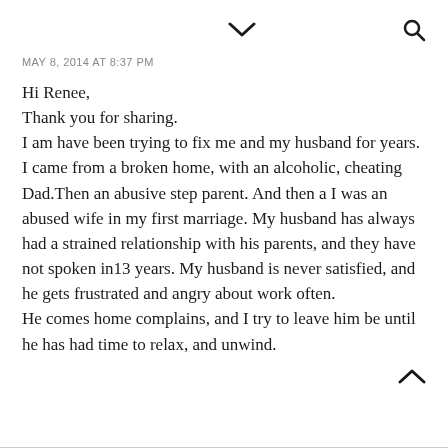▾  🔍
MAY 8, 2014 AT 8:37 PM
Hi Renee,
Thank you for sharing.
I am have been trying to fix me and my husband for years. I came from a broken home, with an alcoholic, cheating Dad.Then an abusive step parent. And then a I was an abused wife in my first marriage. My husband has always had a strained relationship with his parents, and they have not spoken in13 years. My husband is never satisfied, and he gets frustrated and angry about work often.
He comes home complains, and I try to leave him be until he has had time to relax, and unwind.